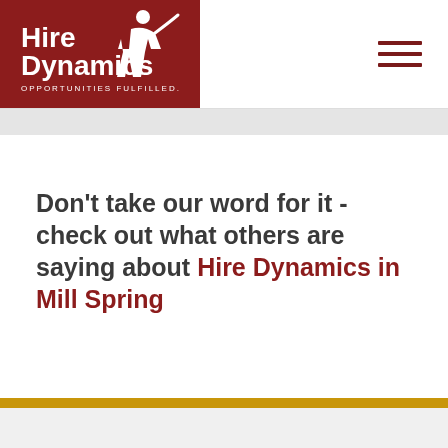[Figure (logo): Hire Dynamics logo with tagline OPPORTUNITIES FULFILLED on dark red background]
Don't take our word for it - check out what others are saying about Hire Dynamics in Mill Spring